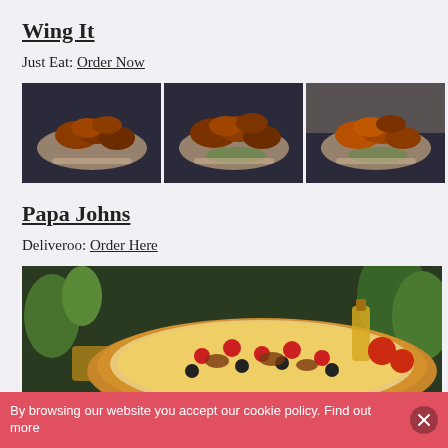Wing It
Just Eat: Order Now
[Figure (photo): Three side-by-side photos of chicken wings on plates with garnishes]
Papa Johns
Deliveroo: Order Here
[Figure (photo): Photo of a Papa Johns pizza with toppings surrounded by vegetables and olive oil]
By browsing our website you accept our cookie policy. Find out more